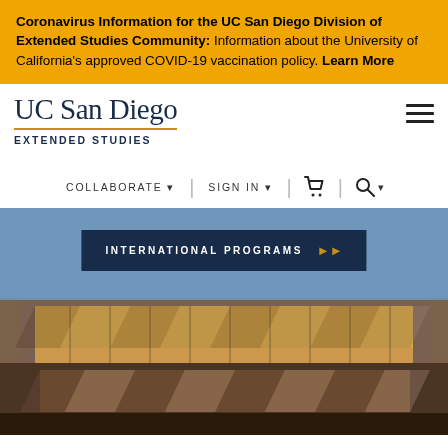Coronavirus Information for the UC San Diego Division of Extended Studies Community: Information about the University of California's approved COVID-19 vaccination policy. Learn More
[Figure (logo): UC San Diego Extended Studies logo with serif wordmark and gold underline]
COLLABORATE ▾  |  SIGN IN ▾  🛒  🔍▾
[Figure (photo): Photo of UC San Diego Geisel Library building exterior showing zigzag concrete and glass facade at dusk, with International Programs banner overlay]